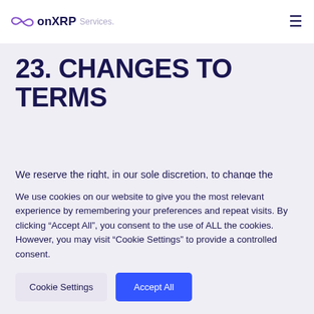onXRP Services
23. CHANGES TO TERMS
We reserve the right, in our sole discretion, to change the Terms under which the Services is offered. The most current version of the Terms...
We use cookies on our website to give you the most relevant experience by remembering your preferences and repeat visits. By clicking “Accept All”, you consent to the use of ALL the cookies. However, you may visit “Cookie Settings” to provide a controlled consent.
Cookie Settings
Accept All